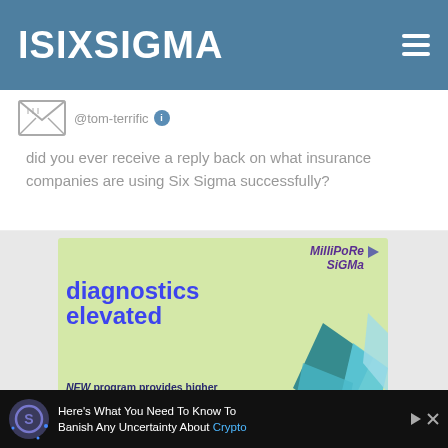ISIXSIGMA
@tom-terrific
did you ever receive a reply back on what insurance companies are using Six Sigma successfully?
[Figure (illustration): MilliporeSigma advertisement: Diagnostics Elevated. NEW program provides higher quality products for your immunoassays. Features geometric teal/blue shapes on light green background.]
[Figure (illustration): Bottom ad banner: Here's What You Need To Know To Banish Any Uncertainty About Crypto]